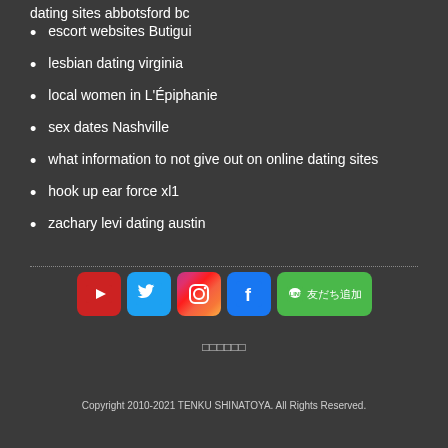dating sites abbotsford bc
escort websites Butigui
lesbian dating virginia
local women in L'Épiphanie
sex dates Nashville
what information to not give out on online dating sites
hook up ear force xl1
zachary levi dating austin
[Figure (infographic): Social media icons: YouTube, Twitter, Instagram, Facebook, and LINE friend add button]
□□□□□□
Copyright 2010-2021 TENKU SHINATOYA. All Rights Reserved.